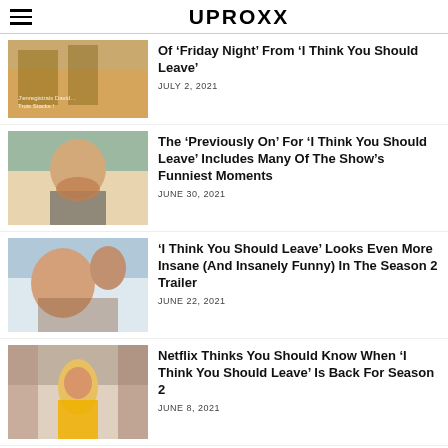UPROXX
[Figure (photo): Thumbnail for article about 'Friday Night' sketch from 'I Think You Should Leave']
Of ‘Friday Night’ From ‘I Think You Should Leave’
JULY 2, 2021
[Figure (photo): Thumbnail of older man in pink shirt at a desk, laughing]
The ‘Previously On’ For ‘I Think You Should Leave’ Includes Many Of The Show’s Funniest Moments
JUNE 30, 2021
[Figure (photo): Thumbnail of a man getting food put in his mouth in a comedic scene]
‘I Think You Should Leave’ Looks Even More Insane (And Insanely Funny) In The Season 2 Trailer
JUNE 22, 2021
[Figure (photo): Thumbnail of a person in a hot dog costume surrounded by people]
Netflix Thinks You Should Know When ‘I Think You Should Leave’ Is Back For Season 2
JUNE 8, 2021